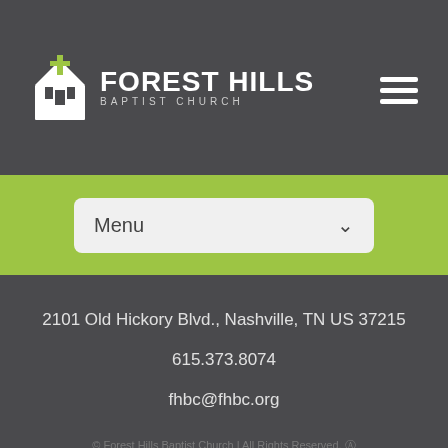FOREST HILLS BAPTIST CHURCH
[Figure (screenshot): Menu dropdown navigation bar on green background]
2101 Old Hickory Blvd., Nashville, TN US 37215
615.373.8074
fhbc@fhbc.org
© Forest Hills Baptist Church | All Rights Reserved. ℮